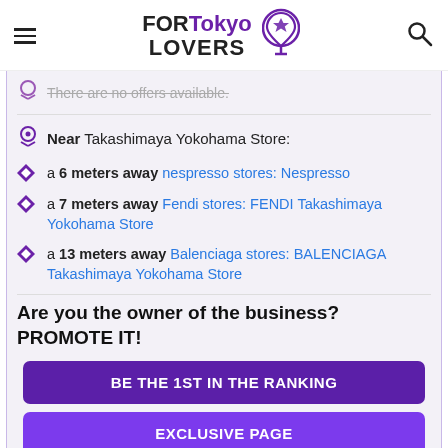FOR Tokyo LOVERS
There are no offers available.
Near Takashimaya Yokohama Store:
a 6 meters away nespresso stores: Nespresso
a 7 meters away Fendi stores: FENDI Takashimaya Yokohama Store
a 13 meters away Balenciaga stores: BALENCIAGA Takashimaya Yokohama Store
Are you the owner of the business? PROMOTE IT!
BE THE 1ST IN THE RANKING
EXCLUSIVE PAGE